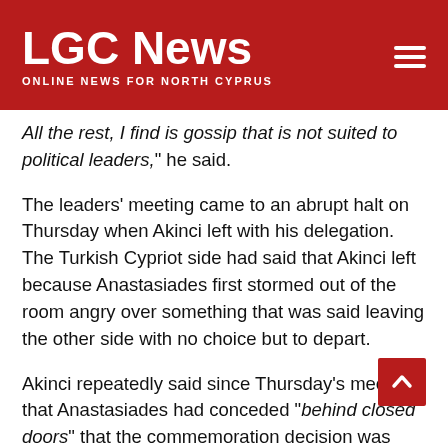LGC News — ONLINE NEWS FOR NORTH CYPRUS
All the rest, I find is gossip that is not suited to political leaders," he said.
The leaders' meeting came to an abrupt halt on Thursday when Akinci left with his delegation. The Turkish Cypriot side had said that Akinci left because Anastasiades first stormed out of the room angry over something that was said leaving the other side with no choice but to depart.
Akinci repeatedly said since Thursday's meeting, that Anastasiades had conceded "behind closed doors" that the commemoration decision was wrong, and "should also say so to his community".
President Akinci told TRT news channel on Saturday that he was expecting two things from the Greek Cypriot side;